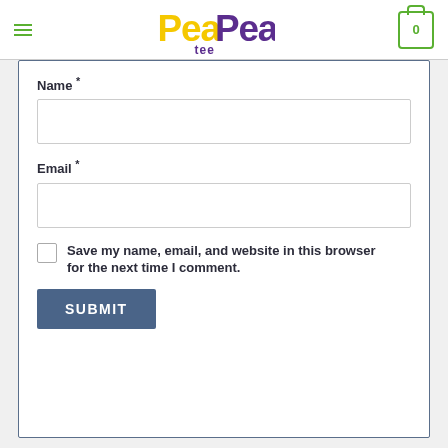PeaPea Tee logo, hamburger menu, cart icon
Name *
Email *
Save my name, email, and website in this browser for the next time I comment.
SUBMIT